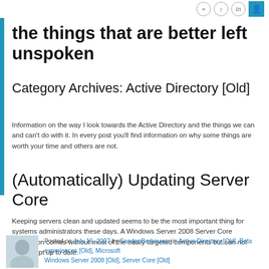[icons: RSS, Twitter, LinkedIn, user]
the things that are better left unspoken
Category Archives: Active Directory [Old]
Information on the way I look towards the Active Directory and the things we can and can't do with it. In every post you'll find information on why some things are worth your time and others are not.
(Automatically) Updating Server Core
Keeping servers clean and updated seems to be the most important thing for systems administrators these days. A Windows Server 2008 Server Core installation comes without most of the easily targeted components but can not easily kept up to date.
Posted on July 16, 2007 by Sander Berkouwer in Active Directory [Old], Beta experiences [Old], Microsoft Windows Server 2008 [Old], Server Core [Old]